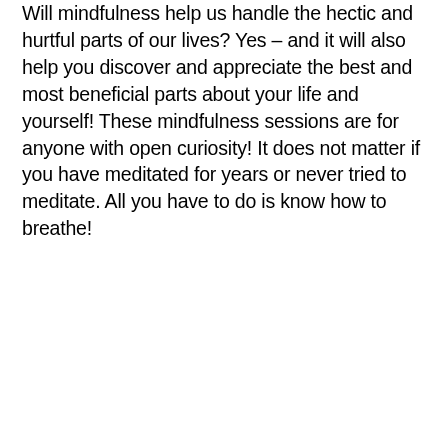Will mindfulness help us handle the hectic and hurtful parts of our lives? Yes – and it will also help you discover and appreciate the best and most beneficial parts about your life and yourself! These mindfulness sessions are for anyone with open curiosity! It does not matter if you have meditated for years or never tried to meditate. All you have to do is know how to breathe!